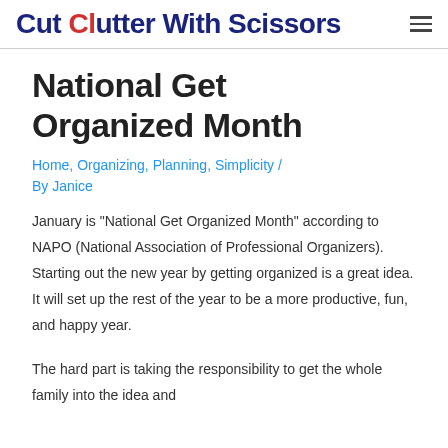Cut Clutter With Scissors
National Get Organized Month
Home, Organizing, Planning, Simplicity / By Janice
January is “National Get Organized Month” according to NAPO (National Association of Professional Organizers). Starting out the new year by getting organized is a great idea. It will set up the rest of the year to be a more productive, fun, and happy year.
The hard part is taking the responsibility to get the whole family into the idea and